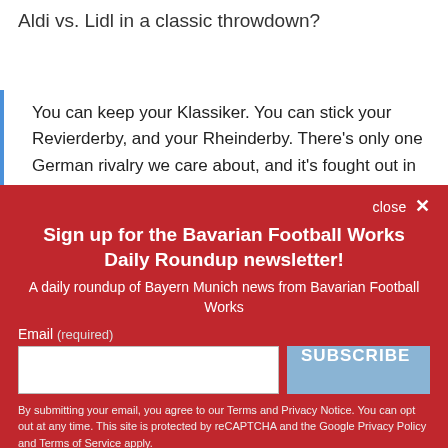Aldi vs. Lidl in a classic throwdown?
You can keep your Klassiker. You can stick your Revierderby, and your Rheinderby. There's only one German rivalry we care about, and it's fought out in
close ×
Sign up for the Bavarian Football Works Daily Roundup newsletter!
A daily roundup of Bayern Munich news from Bavarian Football Works
Email (required)
SUBSCRIBE
By submitting your email, you agree to our Terms and Privacy Notice. You can opt out at any time. This site is protected by reCAPTCHA and the Google Privacy Policy and Terms of Service apply.